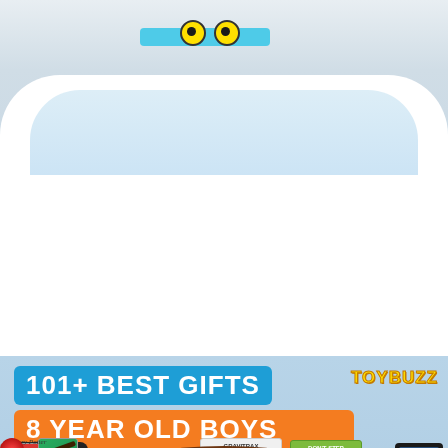[Figure (photo): Top portion showing a bath toy with googly eyes on a tray in a white bathtub]
[Figure (infographic): Toy Buzz promotional graphic showing 101+ Best Gifts for 8 Year Old Boys with product images including Nintendo Switch, game cartridges, Gravitrax, Don't Step In It game, Fire tablet, architecture kit, monster truck arena, Lego Gadgets book, coding laptop, Harry Potter wand, slime, RC monster truck, Beyblades, and Lego Classic set]
101+ BEST GIFTS
8 YEAR OLD BOYS
TOYBUZZ